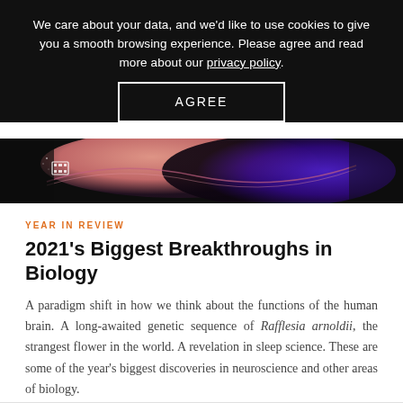We care about your data, and we'd like to use cookies to give you a smooth browsing experience. Please agree and read more about our privacy policy.
AGREE
[Figure (illustration): Abstract dark hero banner with flowing pink and purple wave shapes on black background, with a film strip icon in the lower left corner.]
YEAR IN REVIEW
2021's Biggest Breakthroughs in Biology
A paradigm shift in how we think about the functions of the human brain. A long-awaited genetic sequence of Rafflesia arnoldii, the strangest flower in the world. A revelation in sleep science. These are some of the year's biggest discoveries in neuroscience and other areas of biology.